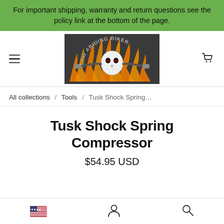For important shipping, warranty and return questions see the policy link at the bottom of the page.
[Figure (logo): Law Abiding Biker logo: skull with flames and motorcycle handlebars on dark background]
All collections / Tools / Tusk Shock Spring…
Tusk Shock Spring Compressor
$54.95 USD
US flag icon | User account icon | Search icon